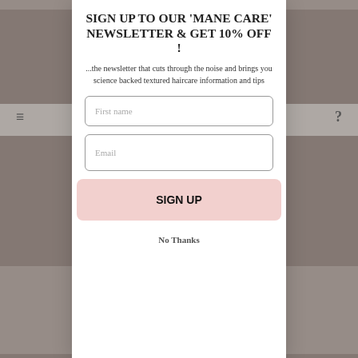SIGN UP TO OUR 'MANE CARE' NEWSLETTER & GET 10% OFF !
...the newsletter that cuts through the noise and brings you science backed textured haircare information and tips
First name
Email
SIGN UP
No Thanks